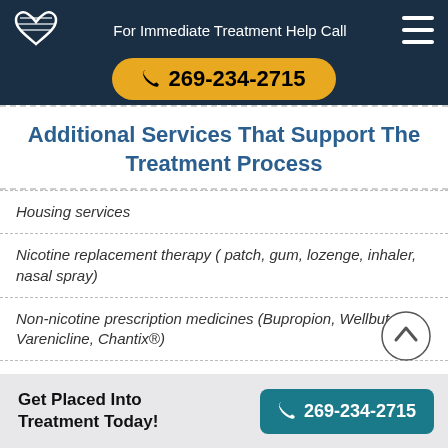For Immediate Treatment Help Call 269-234-2715
Additional Services That Support The Treatment Process
Housing services
Nicotine replacement therapy ( patch, gum, lozenge, inhaler, nasal spray)
Non-nicotine prescription medicines (Bupropion, Wellbutrin®, Varenicline, Chantix®)
Tobacco screening
Get Placed Into Treatment Today! 269-234-2715